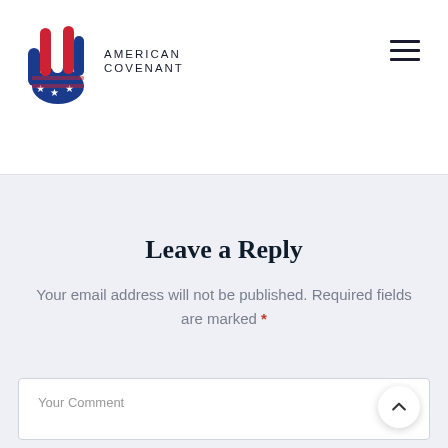[Figure (logo): American Covenant logo — a hand decorated with American flag colors (red, white, blue) with stars, raised palm facing forward, with text 'AMERICAN COVENANT' to the right]
Leave a Reply
Your email address will not be published. Required fields are marked *
Your Comment